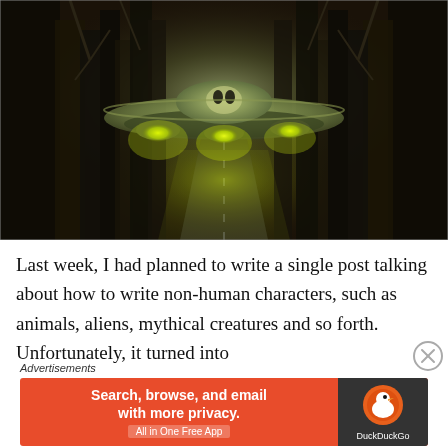[Figure (illustration): A UFO flying saucer with glowing yellow-green lights hovering over a dark foggy forest road at night. The scene is dark and atmospheric with trees on both sides and a long road stretching into the misty background.]
Last week, I had planned to write a single post talking about how to write non-human characters, such as animals, aliens, mythical creatures and so forth. Unfortunately, it turned into
Advertisements
[Figure (other): DuckDuckGo advertisement banner: 'Search, browse, and email with more privacy. All in One Free App' with DuckDuckGo logo on orange/dark background.]